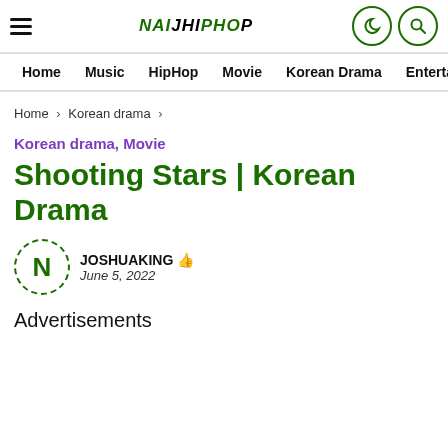NAIJHIPHOP — Home | Music | HipHop | Movie | Korean Drama | Entertainment
Home › Korean drama ›
Korean drama, Movie
Shooting Stars | Korean Drama
JOSHUAKING 👍
June 5, 2022
Advertisements